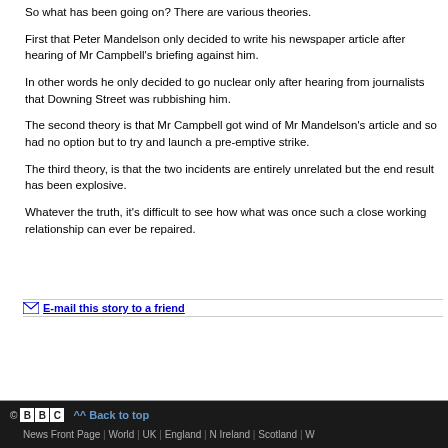So what has been going on? There are various theories.
First that Peter Mandelson only decided to write his newspaper article after hearing of Mr Campbell's briefing against him.
In other words he only decided to go nuclear only after hearing from journalists that Downing Street was rubbishing him.
The second theory is that Mr Campbell got wind of Mr Mandelson's article and so had no option but to try and launch a pre-emptive strike.
The third theory, is that the two incidents are entirely unrelated but the end result has been explosive.
Whatever the truth, it's difficult to see how what was once such a close working relationship can ever be repaired.
✉ E-mail this story to a friend
© BBC | ^^ Back to top | News Front Page | World | UK | England | N Ireland | Scotland | W...